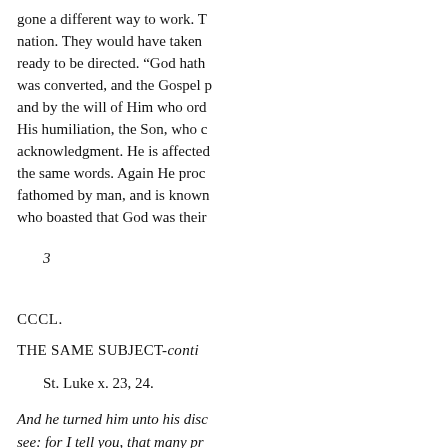gone a different way to work. T nation. They would have taken ready to be directed. “God hath was converted, and the Gospel p and by the will of Him who ord His humiliation, the Son, who c acknowledgment. He is affected the same words. Again He proc fathomed by man, and is known who boasted that God was their
3
CCCL.
THE SAME SUBJECT-conti
St. Luke x. 23, 24.
And he turned him unto his disc see: for I tell you, that many pr